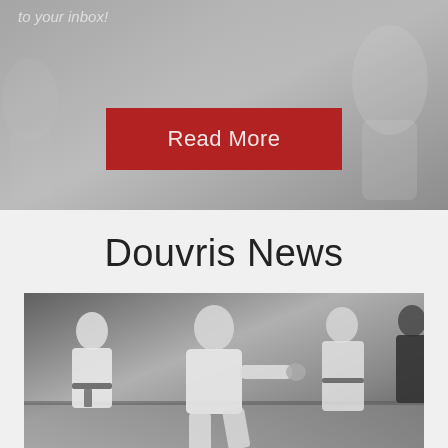to your inbox!
[Figure (other): Red 'Read More' button on grey background banner]
Douvris News
[Figure (photo): Black and white photo of children in karate uniforms (gi) practicing martial arts in a studio]
5 Ways How Karate Can Impact Academic Success